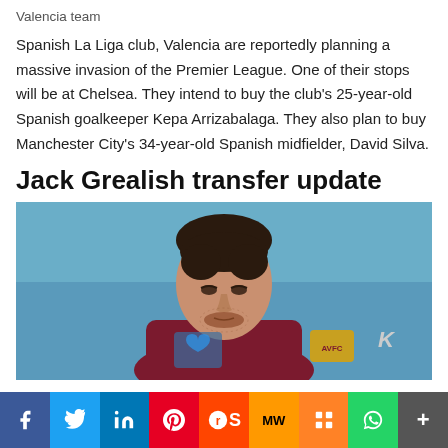Valencia team
Spanish La Liga club, Valencia are reportedly planning a massive invasion of the Premier League. One of their stops will be at Chelsea. They intend to buy the club's 25-year-old Spanish goalkeeper Kepa Arrizabalaga. They also plan to buy Manchester City's 34-year-old Spanish midfielder, David Silva.
Jack Grealish transfer update
[Figure (photo): Jack Grealish wearing Aston Villa claret kit, looking downward, against a blue background]
f  Twitter  in  Pinterest  Reddit  MW  Mix  WhatsApp  +